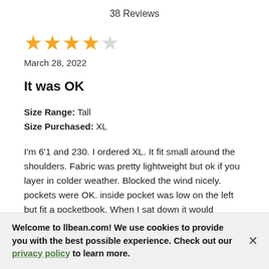38 Reviews
[Figure (other): 4 out of 5 stars rating — four filled gold stars and one empty star]
March 28, 2022
It was OK
Size Range: Tall
Size Purchased: XL
I'm 6'1 and 230. I ordered XL. It fit small around the shoulders. Fabric was pretty lightweight but ok if you layer in colder weather. Blocked the wind nicely. pockets were OK. inside pocket was low on the left but fit a pocketbook. When I sat down it would contact my
Welcome to llbean.com! We use cookies to provide you with the best possible experience. Check out our privacy policy to learn more.